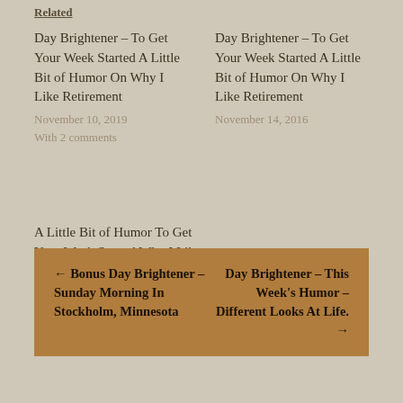Related
Day Brightener – To Get Your Week Started A Little Bit of Humor On Why I Like Retirement
November 10, 2019
With 2 comments
Day Brightener – To Get Your Week Started A Little Bit of Humor On Why I Like Retirement
November 14, 2016
A Little Bit of Humor To Get Your Week Started Why I Like Retirement
March 25, 2013
← Bonus Day Brightener – Sunday Morning In Stockholm, Minnesota
Day Brightener – This Week's Humor – Different Looks At Life. →